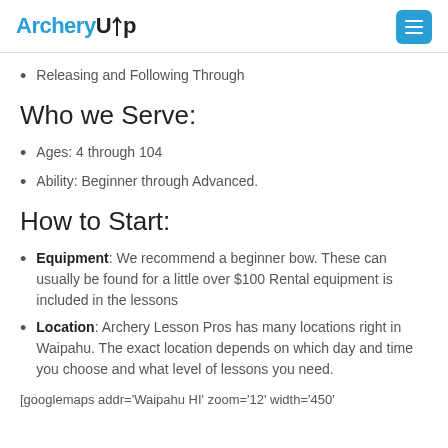ArcheryUp
Releasing and Following Through
Who we Serve:
Ages: 4 through 104
Ability: Beginner through Advanced.
How to Start:
Equipment: We recommend a beginner bow. These can usually be found for a little over $100 Rental equipment is included in the lessons
Location: Archery Lesson Pros has many locations right in Waipahu. The exact location depends on which day and time you choose and what level of lessons you need.
[googlemaps addr='Waipahu HI' zoom='12' width='450'